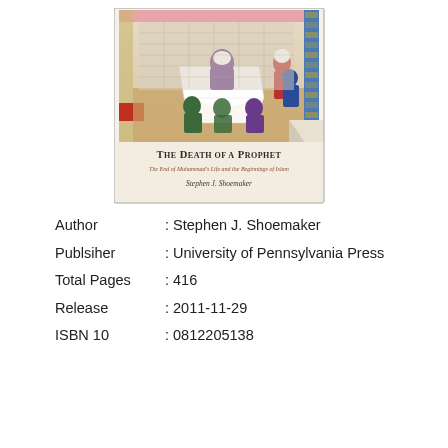[Figure (illustration): Book cover of 'The Death of a Prophet: The End of Muhammad's Life and the Beginnings of Islam' by Stephen J. Shoemaker, published by University of Pennsylvania Press. The cover shows a Persian/Islamic miniature painting depicting figures around a body draped in white cloth.]
Author : Stephen J. Shoemaker
Publsiher : University of Pennsylvania Press
Total Pages : 416
Release : 2011-11-29
ISBN 10 : 0812205138